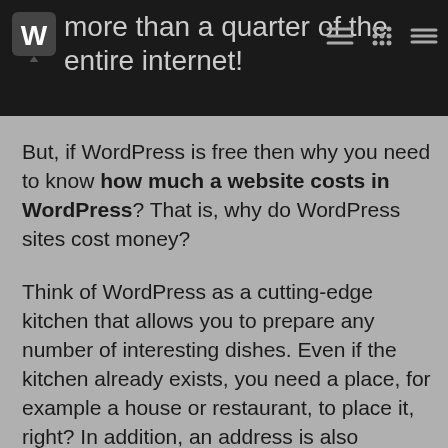more than a quarter of the entire internet!
But, if WordPress is free then why you need to know how much a website costs in WordPress? That is, why do WordPress sites cost money?
Think of WordPress as a cutting-edge kitchen that allows you to prepare any number of interesting dishes. Even if the kitchen already exists, you need a place, for example a house or restaurant, to place it, right? In addition, an address is also required for people to reach it.